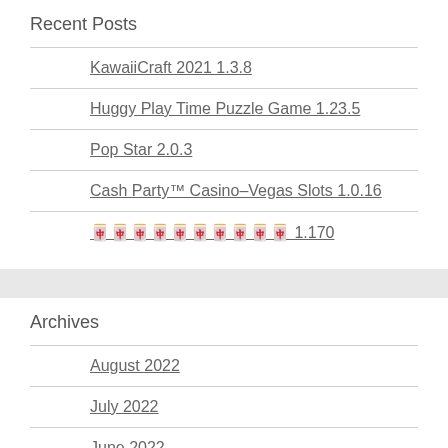Recent Posts
KawaiiCraft 2021 1.3.8
Huggy Play Time Puzzle Game 1.23.5
Pop Star 2.0.3
Cash Party™ Casino–Vegas Slots 1.0.16
🀄🀄🀄🀄🀄🀄🀄🀄🀄🀄 1.170
Archives
August 2022
July 2022
June 2022